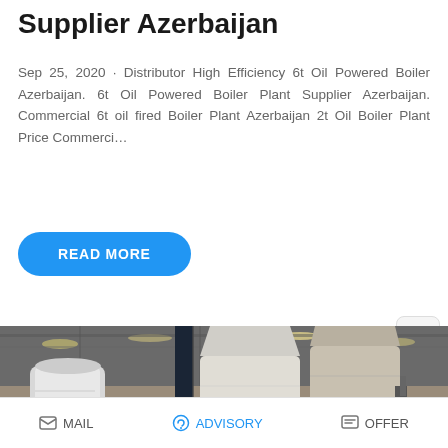Supplier Azerbaijan
Sep 25, 2020 · Distributor High Efficiency 6t Oil Powered Boiler Azerbaijan. 6t Oil Powered Boiler Plant Supplier Azerbaijan. Commercial 6t oil fired Boiler Plant Azerbaijan 2t Oil Boiler Plant Price Commerci…
READ MORE
[Figure (photo): Factory/warehouse interior showing large industrial boiler units wrapped in protective covering, with workers visible in background. Two large cylindrical/conical boiler units are prominent in the center.]
Save Stickers on WhatsApp
MAIL  ADVISORY  OFFER